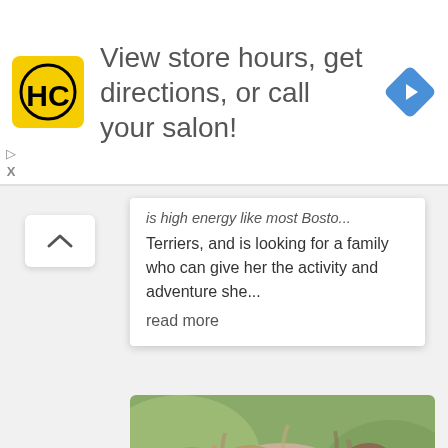[Figure (logo): HC (Hair Club) yellow logo square with black H and C letters]
View store hours, get directions, or call your salon!
[Figure (other): Blue diamond-shaped navigation arrow icon]
is high energy like most Bosto... Terriers, and is looking for a family who can give her the activity and adventure she...
read more
[Figure (photo): Close-up portrait of an Australian Shepherd dog with merle coloring, brown and white fur, looking directly at the camera against a blurred green background]